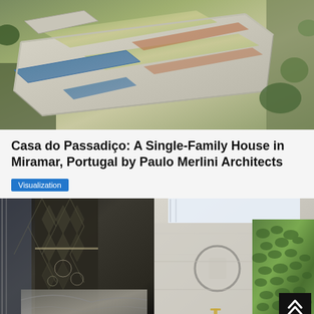[Figure (photo): Aerial view of Casa do Passadiço showing flat-roofed modernist house with green vegetation on rooftops, a narrow swimming pool, and surrounding landscaped grounds with grass and shrubs.]
Casa do Passadiço: A Single-Family House in Miramar, Portugal by Paulo Merlini Architects
Visualization
[Figure (photo): Two interior visualization images side by side. Left: dark modern interior with decorative geometric metal screen/lattice, stone wall feature, and dramatic lighting. Right: bathroom with circular mirror, green living plant wall, skylight, and modern fixtures.]